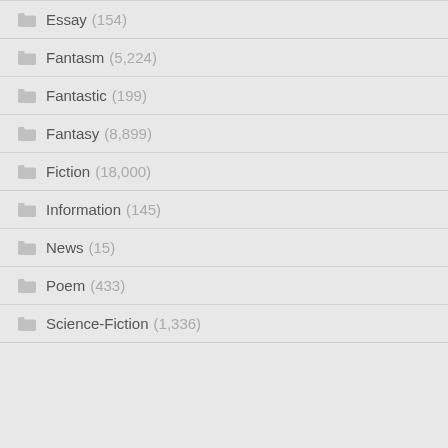Essay (154)
Fantasm (5,224)
Fantastic (199)
Fantasy (8,899)
Fiction (18,000)
Information (145)
News (15)
Poem (433)
Science-Fiction (1,336)